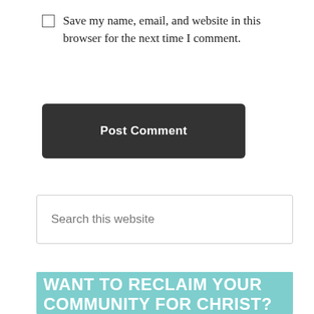Save my name, email, and website in this browser for the next time I comment.
Post Comment
Search this website
[Figure (illustration): Promotional image with teal background showing text 'Want to Reclaim Your Community for Christ?' and a group photo of women under a banner reading 'Reclaiming Our Communities For Christ']